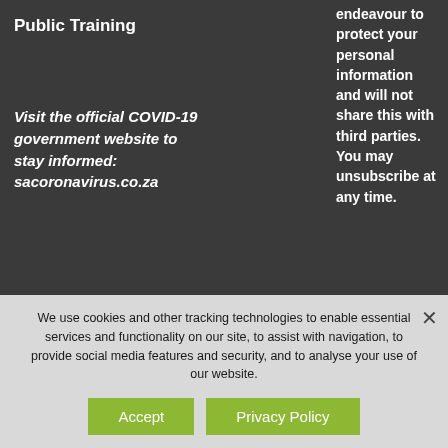Public Training
Visit the official COVID-19 government website to stay informed: sacoronavirus.co.za
endeavour to protect your personal information and will not share this with third parties. You may unsubscribe at any time.
We use cookies and other tracking technologies to enable essential services and functionality on our site, to assist with navigation, to provide social media features and security, and to analyse your use of our website.
Accept
Privacy Policy